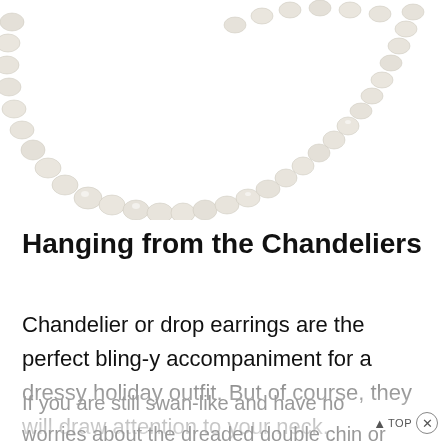[Figure (photo): Partial photo of a pearl necklace on white background, showing the lower left portion and upper right arc of the strand]
Hanging from the Chandeliers
Chandelier or drop earrings are the perfect bling-y accompaniment for a dressy holiday outfit. But of course, they will draw attention to your neck.
If you are still swan-like and have no worries about the dreaded double chin or